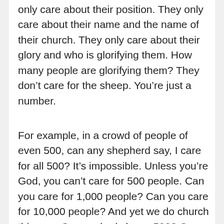only care about their position. They only care about their name and the name of their church. They only care about their glory and who is glorifying them. How many people are glorifying them? They don't care for the sheep. You're just a number.
For example, in a crowd of people of even 500, can any shepherd say, I care for all 500? It's impossible. Unless you're God, you can't care for 500 people. Can you care for 1,000 people? Can you care for 10,000 people? And yet we do church this way. Can anybody know 500? Can anybody even know 150? 200? 300? Can these pastors know them? Can you